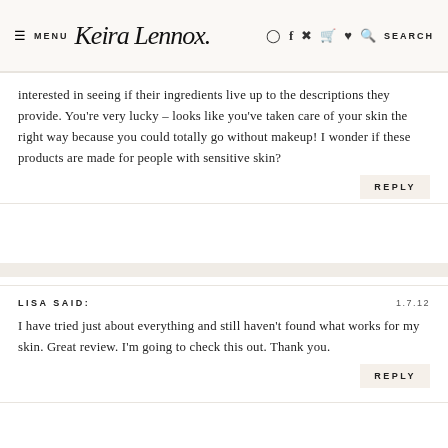MENU  Keira Lennox  [icons]  SEARCH
interested in seeing if their ingredients live up to the descriptions they provide. You're very lucky – looks like you've taken care of your skin the right way because you could totally go without makeup! I wonder if these products are made for people with sensitive skin?
REPLY
LISA SAID:   1.7.12
I have tried just about everything and still haven't found what works for my skin. Great review. I'm going to check this out. Thank you.
REPLY